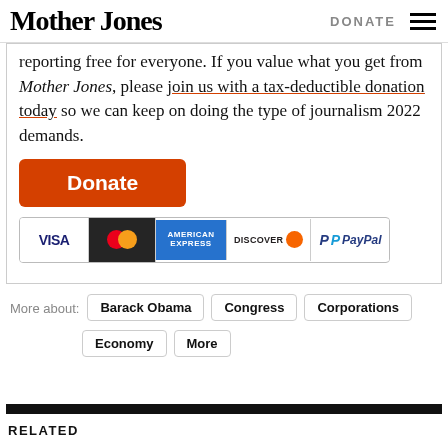Mother Jones | DONATE
reporting free for everyone. If you value what you get from Mother Jones, please join us with a tax-deductible donation today so we can keep on doing the type of journalism 2022 demands.
[Figure (other): Orange Donate button followed by payment method icons: VISA, MasterCard, American Express, Discover, PayPal]
More about: Barack Obama | Congress | Corporations | Economy | More
RELATED